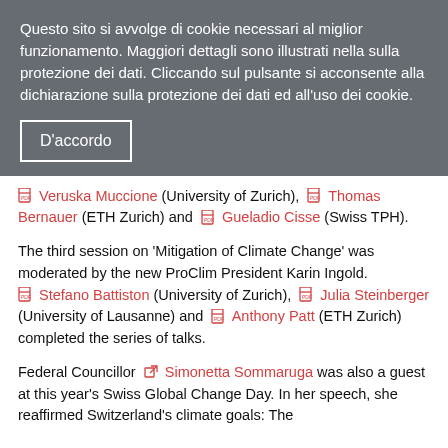Questo sito si avvolge di cookie necessari al miglior funzionamento. Maggiori dettagli sono illustrati nella sulla protezione dei dati. Cliccando sul pulsante si acconsente alla dichiarazione sulla protezione dei dati ed all'uso dei cookie.
D'accordo
Veruska Muccione (University of Zurich), Thomas Bernauer (ETH Zurich) and Gueladio Cisse (Swiss TPH).
The third session on 'Mitigation of Climate Change' was moderated by the new ProClim President Karin Ingold. Stefano Battiston (University of Zurich), Julia Steinberger (University of Lausanne) and Anthony Patt (ETH Zurich) completed the series of talks.
Federal Councillor Simonetta Sommaruga was also a guest at this year's Swiss Global Change Day. In her speech, she reaffirmed Switzerland's climate goals: The